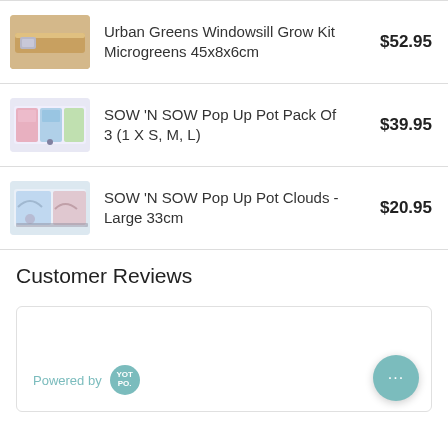Urban Greens Windowsill Grow Kit Microgreens 45x8x6cm — $52.95
SOW 'N SOW Pop Up Pot Pack Of 3 (1 X S, M, L) — $39.95
SOW 'N SOW Pop Up Pot Clouds - Large 33cm — $20.95
Customer Reviews
[Figure (screenshot): Powered by Yotpo reviews widget with chat bubble button]